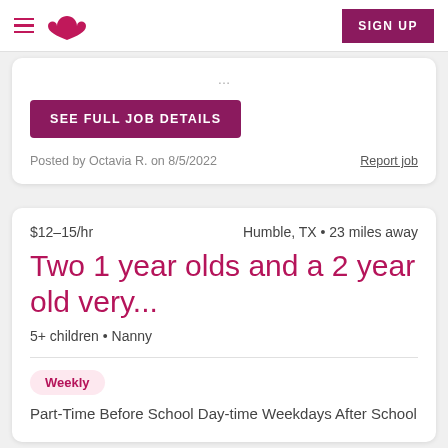Care.com navigation bar with hamburger menu, logo, and SIGN UP button
Posted by Octavia R. on 8/5/2022
Report job
SEE FULL JOB DETAILS
$12–15/hr   Humble, TX • 23 miles away
Two 1 year olds and a 2 year old very...
5+ children • Nanny
Weekly
Part-Time Before School Day-time Weekdays After School